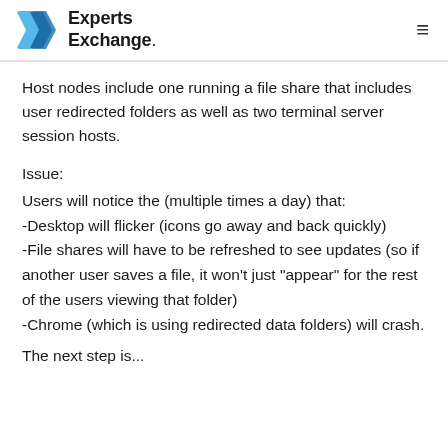Experts Exchange.
Host nodes include one running a file share that includes user redirected folders as well as two terminal server session hosts.
Issue:
Users will notice the (multiple times a day) that:
-Desktop will flicker (icons go away and back quickly)
-File shares will have to be refreshed to see updates (so if another user saves a file, it won't just "appear" for the rest of the users viewing that folder)
-Chrome (which is using redirected data folders) will crash.
The next step is...